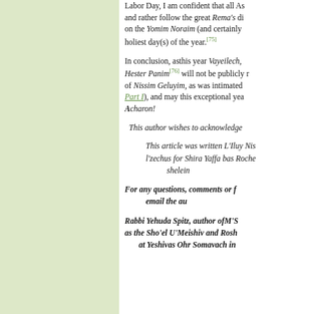Labor Day, I am confident that all As... and rather follow the great Rema's di... on the Yomim Noraim (and certainly holiest day(s) of the year.[75]
In conclusion, asthis year Vayeilech, Hester Panim[76] will not be publicly r... of Nissim Geluyim, as was intimated Part I), and may this exceptional yea... Acharon!
This author wishes to acknowledge
This article was written L'Iluy Nis... l'zechus for Shira Yaffa bas Roche... shelein...
For any questions, comments or f... email the au...
Rabbi Yehuda Spitz, author ofM'S... as the Sho'el U'Meishiv and Rosh... at Yeshivas Ohr Somavach in...